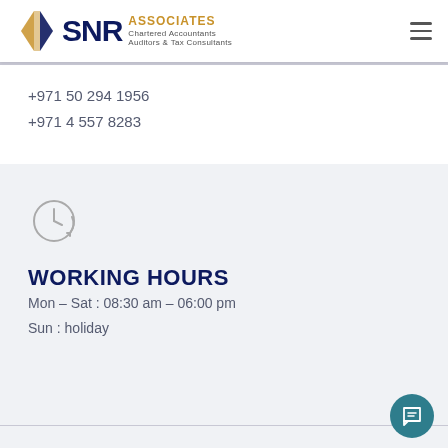[Figure (logo): SNR Associates Chartered Accountants Auditors & Tax Consultants logo with diamond icon]
+971 50 294 1956
+971 4 557 8283
[Figure (illustration): Clock/time icon indicating working hours]
WORKING HOURS
Mon – Sat : 08:30 am – 06:00 pm
Sun : holiday